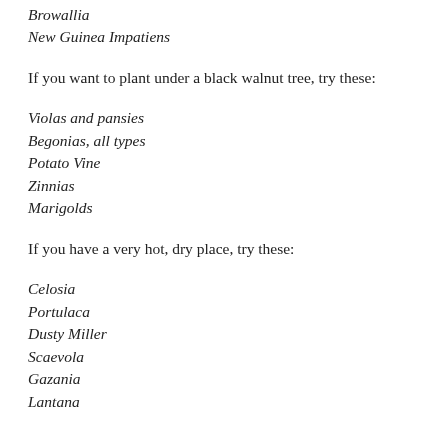Browallia
New Guinea Impatiens
If you want to plant under a black walnut tree, try these:
Violas and pansies
Begonias, all types
Potato Vine
Zinnias
Marigolds
If you have a very hot, dry place, try these:
Celosia
Portulaca
Dusty Miller
Scaevola
Gazania
Lantana